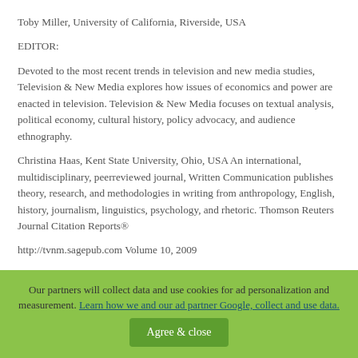Toby Miller, University of California, Riverside, USA
EDITOR:
Devoted to the most recent trends in television and new media studies, Television & New Media explores how issues of economics and power are enacted in television. Television & New Media focuses on textual analysis, political economy, cultural history, policy advocacy, and audience ethnography.
Christina Haas, Kent State University, Ohio, USA An international, multidisciplinary, peerreviewed journal, Written Communication publishes theory, research, and methodologies in writing from anthropology, English, history, journalism, linguistics, psychology, and rhetoric. Thomson Reuters Journal Citation Reports®
http://tvnm.sagepub.com Volume 10, 2009
Our partners will collect data and use cookies for ad personalization and measurement. Learn how we and our ad partner Google, collect and use data.
Agree & close